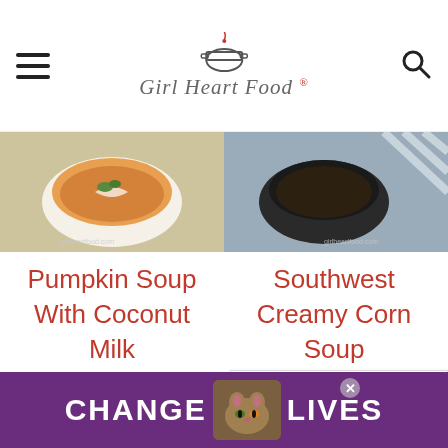Girl Heart Food® — navigation header with hamburger menu and search icon
[Figure (photo): Left food photo: overhead shot of pumpkin soup with coconut milk in a white bowl with green herbs on burlap background]
[Figure (photo): Right food photo: overhead shot of dark creamy soup in a black bowl on burlap/striped cloth background]
Pumpkin Soup With Coconut Milk
Southwest Creamy Corn Soup
© Girl Heart Food Inc. A photographs and content are
[Figure (infographic): WHAT'S NEXT → Stuffed Spaghetti... panel with food thumbnail]
[Figure (photo): Ad banner: CHANGE LIVES with cat photos on purple background]